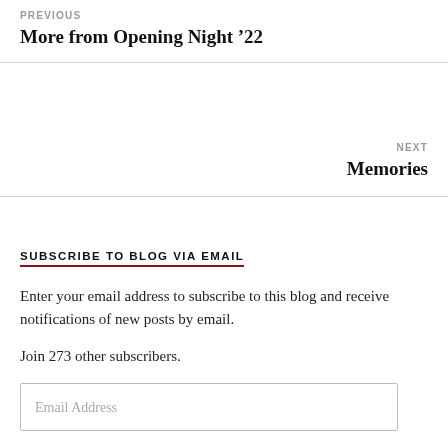PREVIOUS
More from Opening Night ’22
NEXT
Memories
SUBSCRIBE TO BLOG VIA EMAIL
Enter your email address to subscribe to this blog and receive notifications of new posts by email.
Join 273 other subscribers.
Email Address